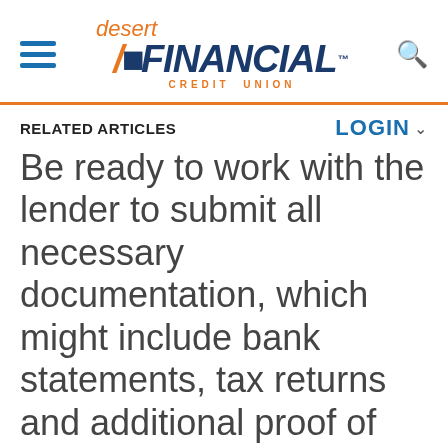[Figure (logo): Desert Financial Credit Union logo with hamburger menu icon on the left and search icon on the right]
RELATED ARTICLES
LOGIN
Be ready to work with the lender to submit all necessary documentation, which might include bank statements, tax returns and additional proof of income.
T